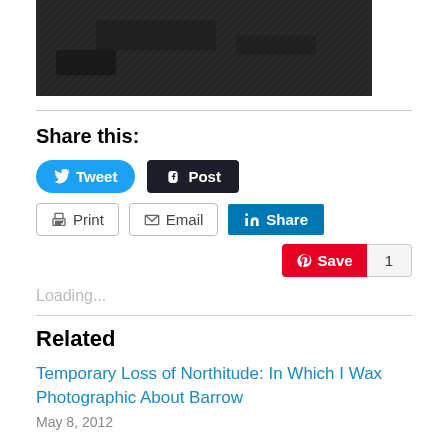[Figure (photo): Dark textured background image, partially visible at top of page]
Share this:
[Figure (infographic): Social sharing buttons: Tweet (Twitter/blue), Post (Tumblr/dark), Print, Email, LinkedIn Share, Pinterest Save with count 1]
Loading...
Related
Temporary Loss of Northitude: In Which I Wax Photographic About Barrow
May 8, 2012